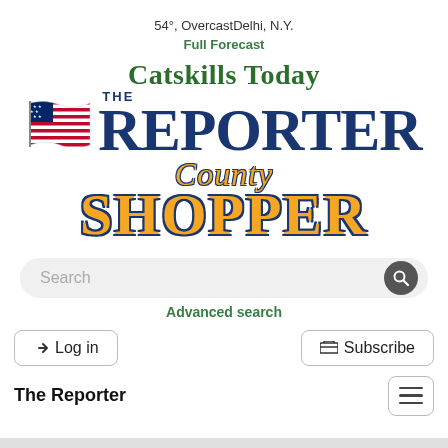54°, OvercastDelhi, N.Y.
Full Forecast
[Figure (logo): Catskills Today The Reporter County Shopper logo with American flag]
Search
Advanced search
Log in
Subscribe
The Reporter